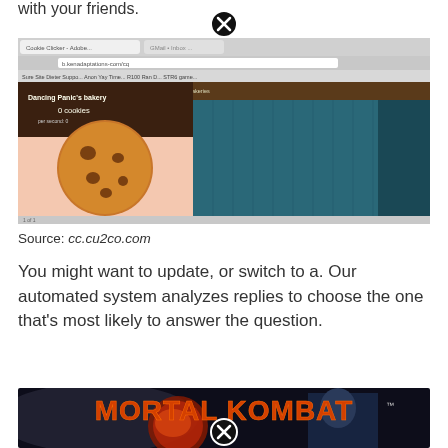with your friends.
[Figure (screenshot): Screenshot of Cookie Clicker game in a web browser, showing a cookie image and game interface with teal/blue background]
Source: cc.cu2co.com
You might want to update, or switch to a. Our automated system analyzes replies to choose the one that's most likely to answer the question.
[Figure (screenshot): Screenshot of Mortal Kombat game title screen showing the Mortal Kombat logo in orange/red letters with dragon emblem and a character on the right]